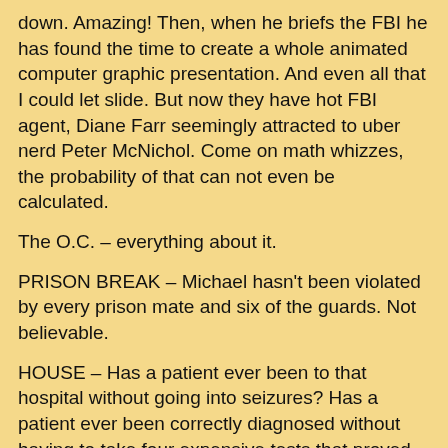down. Amazing! Then, when he briefs the FBI he has found the time to create a whole animated computer graphic presentation. And even all that I could let slide. But now they have hot FBI agent, Diane Farr seemingly attracted to uber nerd Peter McNichol. Come on math whizzes, the probability of that can not even be calculated.
The O.C. – everything about it.
PRISON BREAK – Michael hasn't been violated by every prison mate and six of the guards. Not believable.
HOUSE – Has a patient ever been to that hospital without going into seizures? Has a patient ever been correctly diagnosed without having to take four expensive tests that proved to be unnecessary? Blue Cross must go into conniptions when they get a bill from that hospital. Malpractice lawyers should set up card tables in the lobby.
LOST – One of the friends or relatives of the survivors couldn't Google Map that island? Mark Burnett hasn't scouted it yet for SURVIVOR?